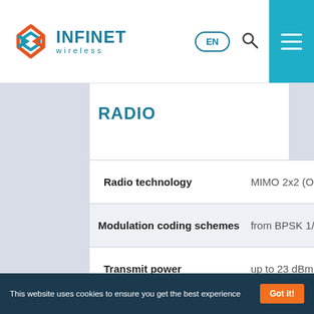[Figure (logo): Infinet Wireless logo with stylized double-diamond icon in orange and teal, company name in teal]
EN  [search icon]  [menu icon]
RADIO
| Parameter | Value |
| --- | --- |
| Radio technology | MIMO 2x2 (OFDM 64/... |
| Modulation coding schemes | from BPSK 1/2 to QAM... |
| Transmit power | up to 23 dBm |
This website uses cookies to ensure you get the best experience   Got it!